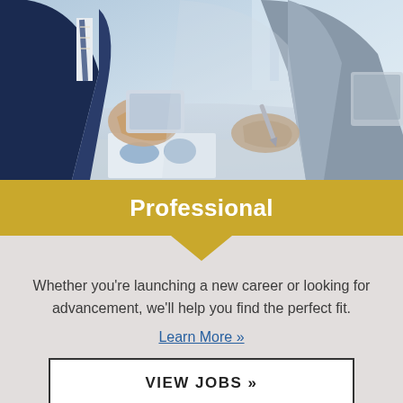[Figure (photo): Business professionals in suits at a table, one holding a tablet, reviewing documents with charts visible in the foreground]
Professional
Whether you're launching a new career or looking for advancement, we'll help you find the perfect fit.
Learn More »
VIEW JOBS »
[Figure (photo): Bottom portion of a business office setting, partial view]